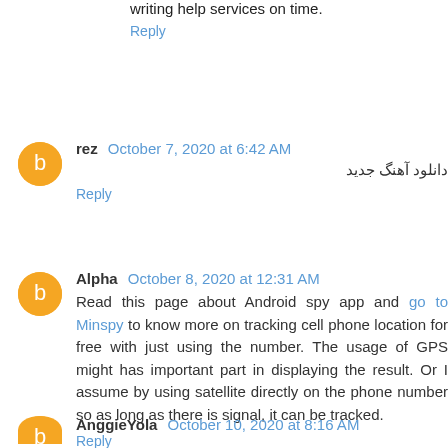writing help services on time.
Reply
rez  October 7, 2020 at 6:42 AM
دانلود آهنگ جدید
Reply
Alpha  October 8, 2020 at 12:31 AM
Read this page about Android spy app and go to Minspy to know more on tracking cell phone location for free with just using the number. The usage of GPS might has important part in displaying the result. Or I assume by using satellite directly on the phone number so as long as there is signal, it can be tracked.
Reply
AnggieYola  October 10, 2020 at 8:16 AM